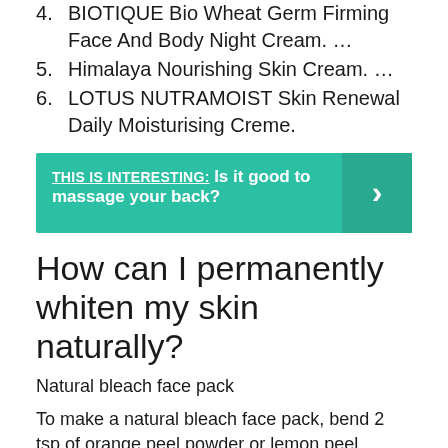4. BIOTIQUE Bio Wheat Germ Firming Face And Body Night Cream. …
5. Himalaya Nourishing Skin Cream. …
6. LOTUS NUTRAMOIST Skin Renewal Daily Moisturising Creme.
[Figure (infographic): Teal banner with text: THIS IS INTERESTING: Is it good to massage your back? with a right-arrow chevron on the right side.]
How can I permanently whiten my skin naturally?
Natural bleach face pack
To make a natural bleach face pack, bend 2 tsp of orange peel powder or lemon peel powder with a tsp of baking soda, 1 tsp of